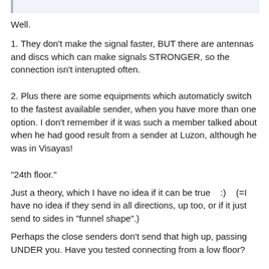[Figure (other): Partial blue-bordered quote/highlight box at top of page]
Well.
1. They don't make the signal faster, BUT there are antennas and discs which can make signals STRONGER, so the connection isn't interupted often.
2. Plus there are some equipments which automaticly switch to the fastest available sender, when you have more than one option. I don't remember if it was such a member talked about when he had good result from a sender at Luzon, although he was in Visayas!
"24th floor."
Just a theory, which I have no idea if it can be true   :)   (=I have no idea if they send in all directions, up too, or if it just send to sides in "funnel shape".)
Perhaps the close senders don't send that high up, passing UNDER you. Have you tested connecting from a low floor?